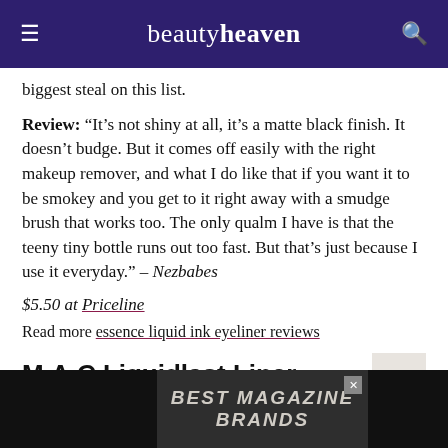beautyheaven
biggest steal on this list.
Review: “It’s not shiny at all, it’s a matte black finish. It doesn’t budge. But it comes off easily with the right makeup remover, and what I do like that if you want it to be smokey and you get to it right away with a smudge brush that works too. The only qualm I have is that the teeny tiny bottle runs out too fast. But that’s just because I use it everyday.” – Nezbabes
$5.50 at Priceline
Read more essence liquid ink eyeliner reviews
M.A.C Liquidlast Liner
[Figure (screenshot): Advertisement banner reading BEST MAGAZINE BRANDS with black product columns on left and right]
[Figure (photo): Partial view of two black eyeliner product containers on left and right edges of the image]